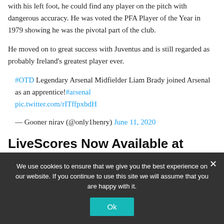with his left foot, he could find any player on the pitch with dangerous accuracy. He was voted the PFA Player of the Year in 1979 showing he was the pivotal part of the club.
He moved on to great success with Juventus and is still regarded as probably Ireland's greatest player ever.
#OTD Legendary Arsenal Midfielder Liam Brady joined Arsenal as an apprentice!#arsenal pic.twitter.com/rITffpxbdH
— Gooner nirav (@only1henry) June 11, 2020
LiveScores Now Available at
We use cookies to ensure that we give you the best experience on our website. If you continue to use this site we will assume that you are happy with it.